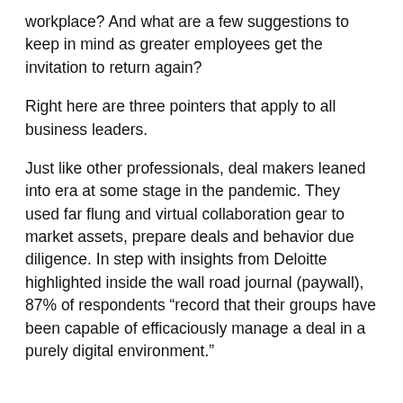workplace? And what are a few suggestions to keep in mind as greater employees get the invitation to return again?
Right here are three pointers that apply to all business leaders.
Just like other professionals, deal makers leaned into era at some stage in the pandemic. They used far flung and virtual collaboration gear to market assets, prepare deals and behavior due diligence. In step with insights from Deloitte highlighted inside the wall road journal (paywall), 87% of respondents “record that their groups have been capable of efficaciously manage a deal in a purely digital environment.”